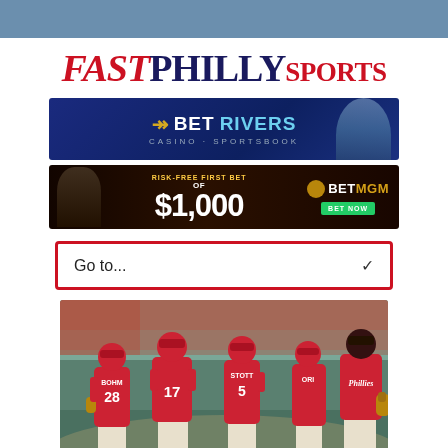[Figure (logo): Fast Philly Sports logo with FAST in red italic, PHILLY in dark navy bold, SPORTS in red bold]
[Figure (infographic): BetRivers Casino Sportsbook advertisement banner with blue background and woman in blazer]
[Figure (infographic): BetMGM Risk-Free First Bet of $1,000 advertisement with dark background]
Go to...
[Figure (photo): Philadelphia Phillies baseball players walking on field from behind, showing jerseys: BOHM 28, player 17, STOTT 5, and others in red Phillies uniforms]